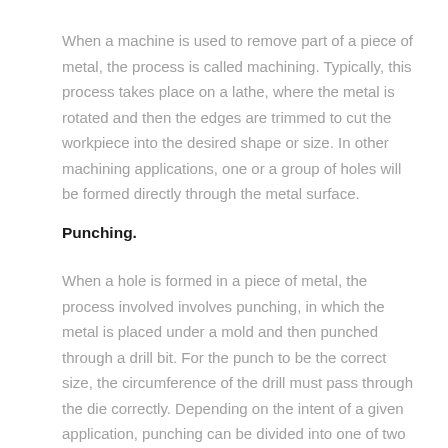When a machine is used to remove part of a piece of metal, the process is called machining. Typically, this process takes place on a lathe, where the metal is rotated and then the edges are trimmed to cut the workpiece into the desired shape or size. In other machining applications, one or a group of holes will be formed directly through the metal surface.
Punching.
When a hole is formed in a piece of metal, the process involved involves punching, in which the metal is placed under a mold and then punched through a drill bit. For the punch to be the correct size, the circumference of the drill must pass through the die correctly. Depending on the intent of a given application, punching can be divided into one of two subcategories.